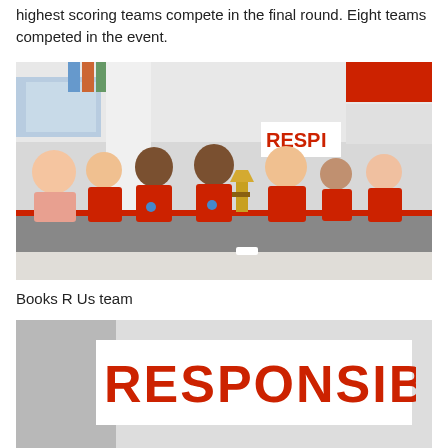highest scoring teams compete in the final round. Eight teams competed in the event.
[Figure (photo): Group photo of the Books R Us team: an adult woman and six children in red shirts, posing at a table with a trophy in a school cafeteria decorated in red and white. A 'RESP...' sign is visible on the wall.]
Books R Us team
[Figure (photo): Partial view of a red and white banner reading 'RESPONSIBLE']